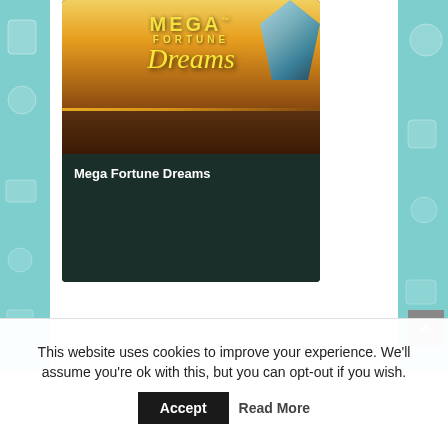[Figure (screenshot): A promotional card for the casino slot game 'Mega Fortune Dreams'. The card shows a golden tropical sunset scene with the game logo at top (MEGA FORTUNE Dreams in gold text), and a dark teal/green lower section with the text 'Mega Fortune Dreams' in white bold font.]
This website uses cookies to improve your experience. We'll assume you're ok with this, but you can opt-out if you wish.
Accept
Read More